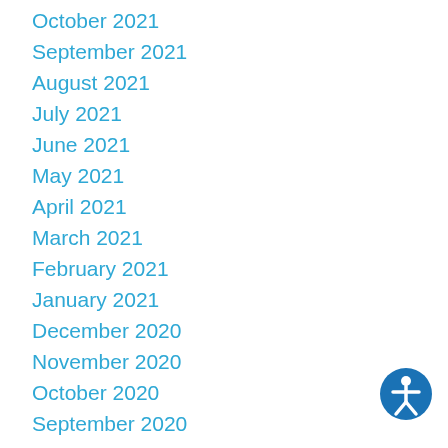October 2021
September 2021
August 2021
July 2021
June 2021
May 2021
April 2021
March 2021
February 2021
January 2021
December 2020
November 2020
October 2020
September 2020
[Figure (other): Accessibility icon button: blue circle with white human figure symbol]